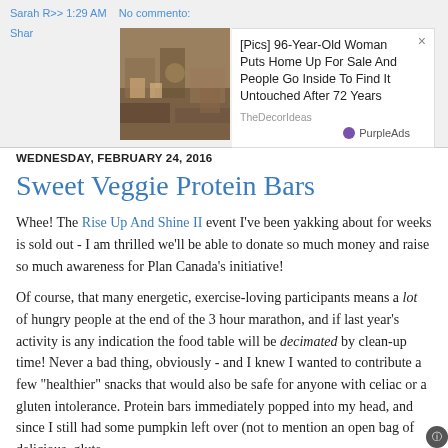[Figure (screenshot): Advertisement banner showing a cluttered room image with text '[Pics] 96-Year-Old Woman Puts Home Up For Sale And People Go Inside To Find It Untouched After 72 Years' from TheDecorIdeas, branded with PurpleAds logo. Behind the ad are partial blog UI elements with 'Sarah' and 'Shar' text links in blue.]
WEDNESDAY, FEBRUARY 24, 2016
Sweet Veggie Protein Bars
Whee! The Rise Up And Shine II event I've been yakking about for weeks is sold out - I am thrilled we'll be able to donate so much money and raise so much awareness for Plan Canada's initiative!
Of course, that many energetic, exercise-loving participants means a lot of hungry people at the end of the 3 hour marathon, and if last year's activity is any indication the food table will be decimated by clean-up time! Never a bad thing, obviously - and I knew I wanted to contribute a few "healthier" snacks that would also be safe for anyone with celiac or a gluten intolerance. Protein bars immediately popped into my head, and since I still had some pumpkin left over (not to mention an open bag of delicious, glute